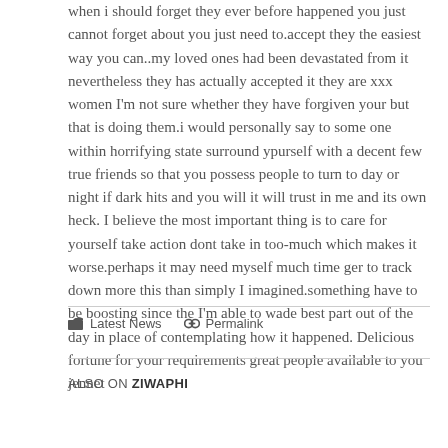when i should forget they ever before happened you just cannot forget about you just need to.accept they the easiest way you can..my loved ones had been devastated from it nevertheless they has actually accepted it they are xxx women I'm not sure whether they have forgiven your but that is doing them.i would personally say to some one within horrifying state surround ypurself with a decent few true friends so that you possess people to turn to day or night if dark hits and you will it will trust in me and its own heck. I believe the most important thing is to care for yourself take action dont take in too-much which makes it worse.perhaps it may need myself much time ger to track down more this than simply I imagined.something have to be boosting since the I'm able to wade best part out of the day in place of contemplating how it happened. Delicious fortune for your requirements great people available to you jennet
Latest News  Permalink
ALSO ON ZIWAPHI